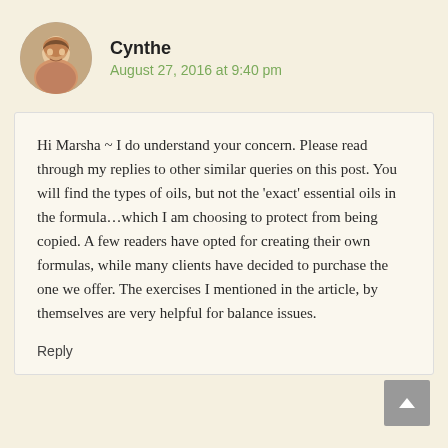[Figure (photo): Circular avatar photo of a woman smiling, used as commenter profile picture]
Cynthe
August 27, 2016 at 9:40 pm
Hi Marsha ~ I do understand your concern. Please read through my replies to other similar queries on this post. You will find the types of oils, but not the ‘exact’ essential oils in the formula…which I am choosing to protect from being copied. A few readers have opted for creating their own formulas, while many clients have decided to purchase the one we offer. The exercises I mentioned in the article, by themselves are very helpful for balance issues.
Reply